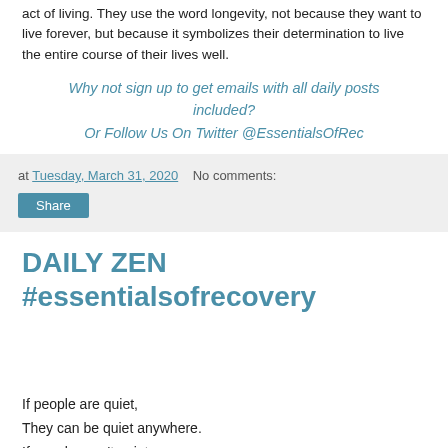act of living. They use the word longevity, not because they want to live forever, but because it symbolizes their determination to live the entire course of their lives well.
Why not sign up to get emails with all daily posts included?
Or Follow Us On Twitter @EssentialsOfRec
at Tuesday, March 31, 2020   No comments:
Share
DAILY ZEN #essentialsofrecovery
If people are quiet,
They can be quiet anywhere.
If people aren't quiet